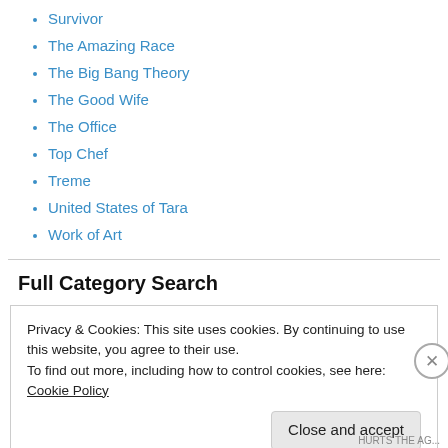Survivor
The Amazing Race
The Big Bang Theory
The Good Wife
The Office
Top Chef
Treme
United States of Tara
Work of Art
Full Category Search
Privacy & Cookies: This site uses cookies. By continuing to use this website, you agree to their use.
To find out more, including how to control cookies, see here: Cookie Policy
Close and accept